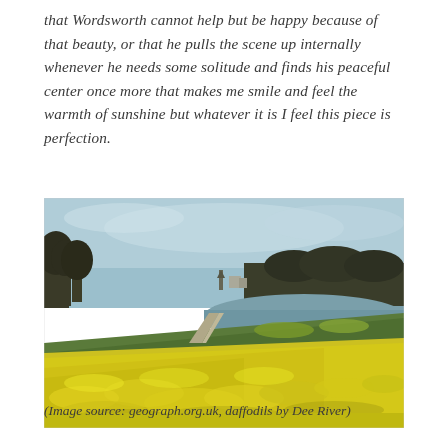that Wordsworth cannot help but be happy because of that beauty, or that he pulls the scene up internally whenever he needs some solitude and finds his peaceful center once more that makes me smile and feel the warmth of sunshine but whatever it is I feel this piece is perfection.
[Figure (photo): A hillside covered in yellow daffodils sloping down toward a river path, with trees and a town visible in the background under a pale blue-grey sky.]
(Image source: geograph.org.uk, daffodils by Dee River)